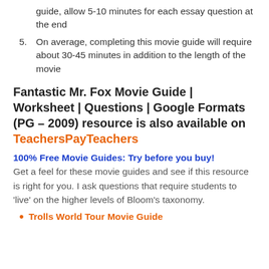guide, allow 5-10 minutes for each essay question at the end
5. On average, completing this movie guide will require about 30-45 minutes in addition to the length of the movie
Fantastic Mr. Fox Movie Guide | Worksheet | Questions | Google Formats (PG – 2009) resource is also available on TeachersPayTeachers
100% Free Movie Guides: Try before you buy!
Get a feel for these movie guides and see if this resource is right for you. I ask questions that require students to 'live' on the higher levels of Bloom's taxonomy.
Trolls World Tour Movie Guide